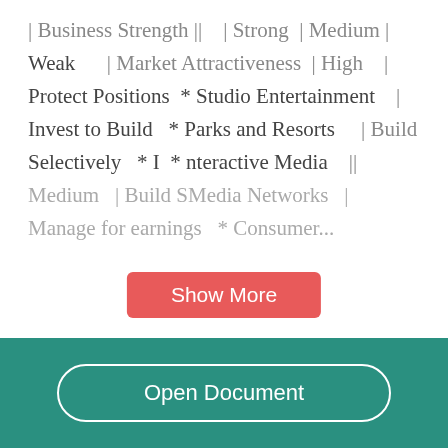| Business Strength |  | Strong | Medium |
| --- | --- | --- | --- |
| Weak | Market Attractiveness | High |  |
| Protect Positions | * Studio Entertainment |  |  |
| Invest to Build | * Parks and Resorts | Build |  |
| Selectively | * I | * nteractive Media |  |
| Medium | Build S[electively] | [Media Networks] |  |
| Manage for earnings | * Consumer... |  |  |
Show More
Open Document